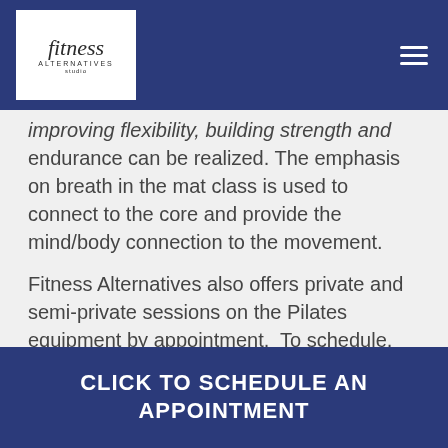Fitness Alternatives Studio – navigation header
improving flexibility, building strength and endurance can be realized. The emphasis on breath in the mat class is used to connect to the core and provide the mind/body connection to the movement.
Fitness Alternatives also offers private and semi-private sessions on the Pilates equipment by appointment.  To schedule, click below or call 414-573-2895.
CLICK TO SCHEDULE AN APPOINTMENT